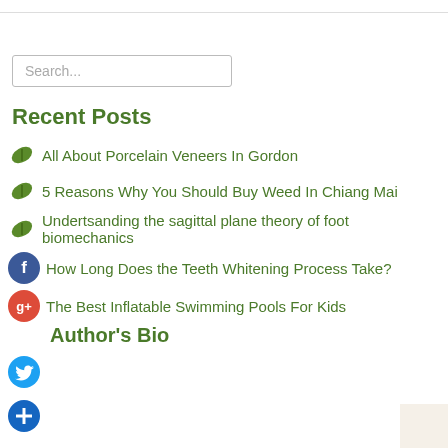Search...
Recent Posts
All About Porcelain Veneers In Gordon
5 Reasons Why You Should Buy Weed In Chiang Mai
Undertsanding the sagittal plane theory of foot biomechanics
How Long Does the Teeth Whitening Process Take?
The Best Inflatable Swimming Pools For Kids
Author's Bio